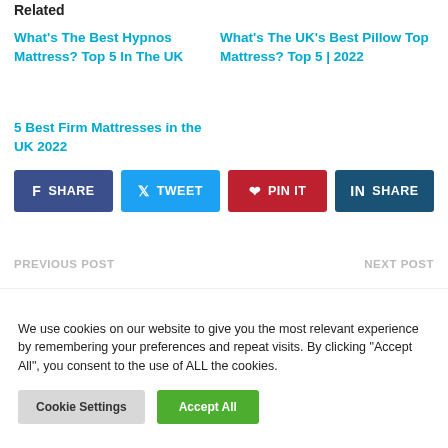Related
What's The Best Hypnos Mattress? Top 5 In The UK
What's The UK's Best Pillow Top Mattress? Top 5 | 2022
5 Best Firm Mattresses in the UK 2022
[Figure (infographic): Social share buttons: SHARE (Facebook), TWEET (Twitter), PIN IT (Pinterest), SHARE (LinkedIn)]
PREVIOUS POST
NEXT POST
We use cookies on our website to give you the most relevant experience by remembering your preferences and repeat visits. By clicking “Accept All”, you consent to the use of ALL the cookies.
Cookie Settings  Accept All